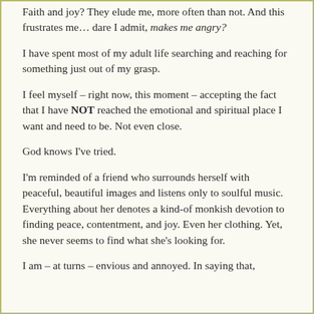Faith and joy? They elude me, more often than not. And this frustrates me… dare I admit, makes me angry?
I have spent most of my adult life searching and reaching for something just out of my grasp.
I feel myself – right now, this moment – accepting the fact that I have NOT reached the emotional and spiritual place I want and need to be. Not even close.
God knows I've tried.
I'm reminded of a friend who surrounds herself with peaceful, beautiful images and listens only to soulful music. Everything about her denotes a kind-of monkish devotion to finding peace, contentment, and joy. Even her clothing. Yet, she never seems to find what she's looking for.
I am – at turns – envious and annoyed. In saying that,